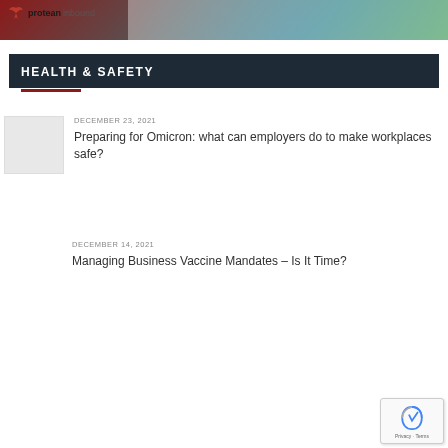[Figure (photo): Protean Inbound banner with logo and device mockups showing digital content]
HEALTH & SAFETY
DECEMBER 23, 2021
Preparing for Omicron: what can employers do to make workplaces safe?
DECEMBER 14, 2021
Managing Business Vaccine Mandates – Is It Time?